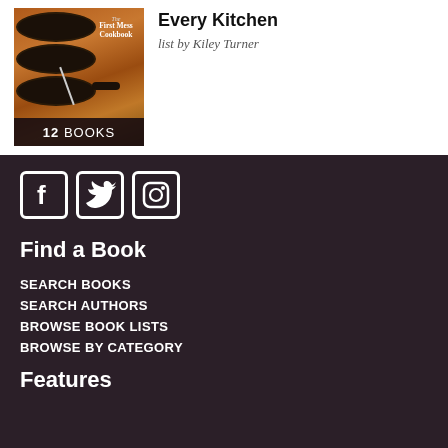[Figure (illustration): Book cover of 'The First Mess Cookbook' showing three dark pans with food, with '12 BOOKS' label at the bottom]
Every Kitchen
list by Kiley Turner
[Figure (logo): Social media icons: Facebook, Twitter, Instagram in white on dark background]
Find a Book
SEARCH BOOKS
SEARCH AUTHORS
BROWSE BOOK LISTS
BROWSE BY CATEGORY
Features